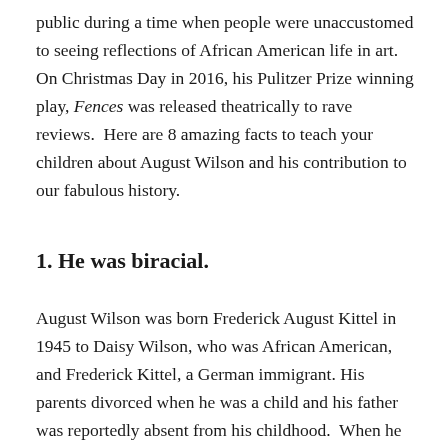public during a time when people were unaccustomed to seeing reflections of African American life in art. On Christmas Day in 2016, his Pulitzer Prize winning play, Fences was released theatrically to rave reviews. Here are 8 amazing facts to teach your children about August Wilson and his contribution to our fabulous history.
1. He was biracial.
August Wilson was born Frederick August Kittel in 1945 to Daisy Wilson, who was African American, and Frederick Kittel, a German immigrant. His parents divorced when he was a child and his father was reportedly absent from his childhood. When he was